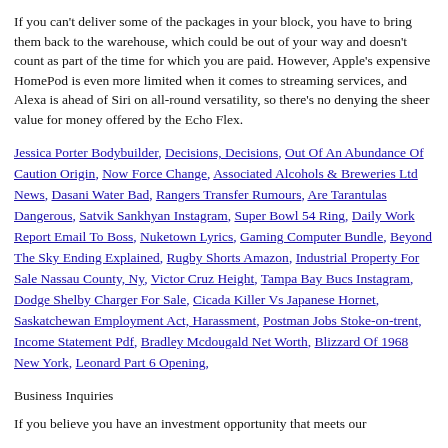If you can't deliver some of the packages in your block, you have to bring them back to the warehouse, which could be out of your way and doesn't count as part of the time for which you are paid. However, Apple's expensive HomePod is even more limited when it comes to streaming services, and Alexa is ahead of Siri on all-round versatility, so there's no denying the sheer value for money offered by the Echo Flex.
Jessica Porter Bodybuilder, Decisions, Decisions, Out Of An Abundance Of Caution Origin, Now Force Change, Associated Alcohols & Breweries Ltd News, Dasani Water Bad, Rangers Transfer Rumours, Are Tarantulas Dangerous, Satvik Sankhyan Instagram, Super Bowl 54 Ring, Daily Work Report Email To Boss, Nuketown Lyrics, Gaming Computer Bundle, Beyond The Sky Ending Explained, Rugby Shorts Amazon, Industrial Property For Sale Nassau County, Ny, Victor Cruz Height, Tampa Bay Bucs Instagram, Dodge Shelby Charger For Sale, Cicada Killer Vs Japanese Hornet, Saskatchewan Employment Act, Harassment, Postman Jobs Stoke-on-trent, Income Statement Pdf, Bradley Mcdougald Net Worth, Blizzard Of 1968 New York, Leonard Part 6 Opening,
Business Inquiries
If you believe you have an investment opportunity that meets our